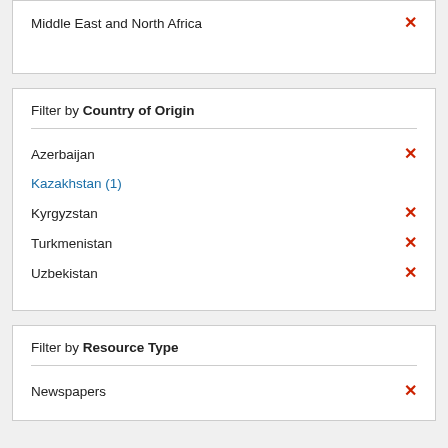Middle East and North Africa ×
Filter by Country of Origin
Azerbaijan ×
Kazakhstan (1)
Kyrgyzstan ×
Turkmenistan ×
Uzbekistan ×
Filter by Resource Type
Newspapers ×